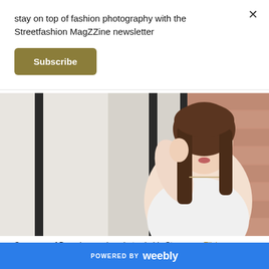stay on top of fashion photography with the Streetfashion MagZZine newsletter
Subscribe
[Figure (photo): Close-up portrait of a young woman with long brown hair wearing a white sleeveless top, standing near dark metal railings with a blurred brick/wood background]
See more of Bruno’s amazing photos in his Stream on Flickr.
POWERED BY weebly